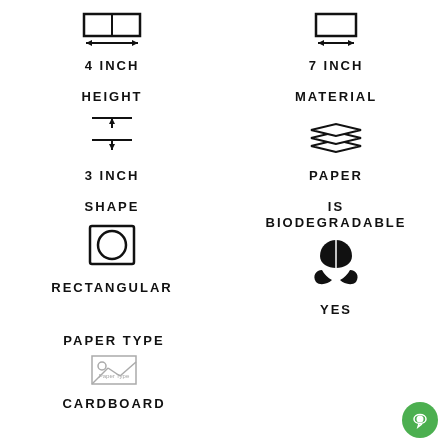[Figure (infographic): Product specification infographic showing: Width 4 INCH (icon: wide rectangle with arrows), Width 7 INCH (icon: narrow rectangle), Height 3 INCH (icon: height arrows), Material PAPER (icon: stacked layers), Shape RECTANGULAR (icon: rectangle with circle), IS BIODEGRADABLE YES (icon: leaf/eco), Paper Type CARDBOARD (icon: image placeholder)]
4 INCH
7 INCH
HEIGHT
3 INCH
MATERIAL
PAPER
SHAPE
RECTANGULAR
IS BIODEGRADABLE
YES
PAPER TYPE
CARDBOARD